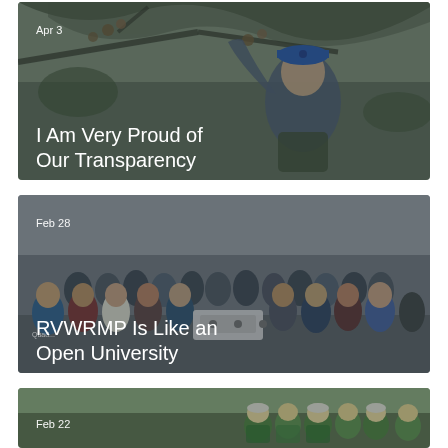[Figure (photo): Photo of a man in a blue cap among tree branches, overlaid with date 'Apr 3' and title 'I Am Very Proud of Our Transparency']
[Figure (photo): Group photo of many people gathered outdoors, overlaid with date 'Feb 28' and title 'RVWRMP Is Like an Open University']
[Figure (photo): Group of people in green/colorful clothing outdoors, with date 'Feb 22' visible]